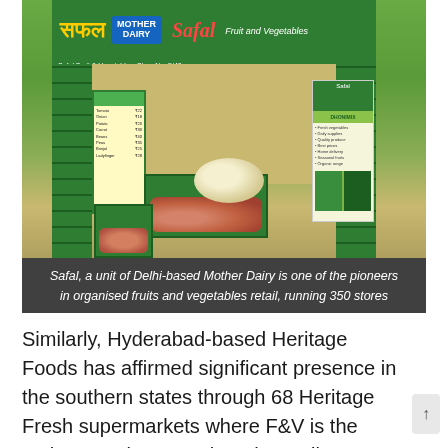[Figure (photo): A Safal fruit and vegetable retail store (a unit of Mother Dairy) with green signage, green crates stacked on both sides, price boards, fresh produce displayed at the front including onions. The green banner reads 'Safal', 'Mother Dairy', and 'Safal Fruit and Vegetables'.]
Safal, a unit of Delhi-based Mother Dairy is one of the pioneers in organised fruits and vegetables retail, running 350 stores
Similarly, Hyderabad-based Heritage Foods has affirmed significant presence in the southern states through 68 Heritage Fresh supermarkets where F&V is the main attraction. Kovai Pazhamudir Nilayam (KPN) is a leading retailer of fruits and vegetables based in Coimbatore, Tamil